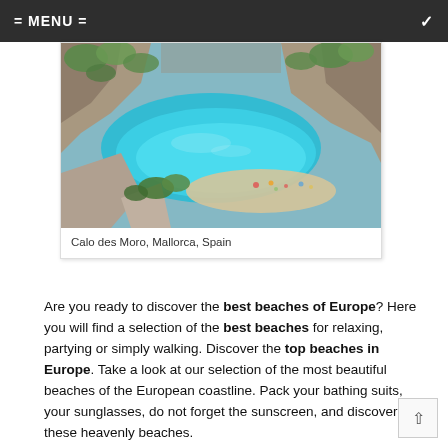= MENU =
[Figure (photo): Aerial view of Calo des Moro, a turquoise cove beach in Mallorca, Spain, surrounded by rocky cliffs and green vegetation with beachgoers visible on the sandy shore.]
Calo des Moro, Mallorca, Spain
Are you ready to discover the best beaches of Europe? Here you will find a selection of the best beaches for relaxing, partying or simply walking. Discover the top beaches in Europe. Take a look at our selection of the most beautiful beaches of the European coastline. Pack your bathing suits, your sunglasses, do not forget the sunscreen, and discover these heavenly beaches.